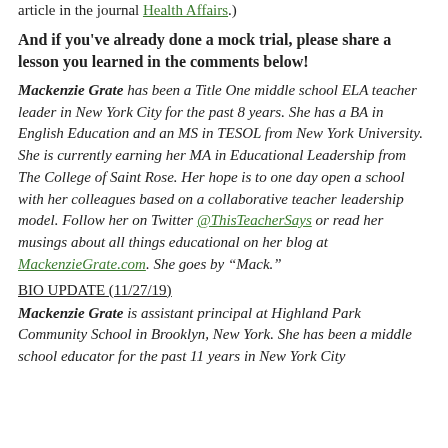article in the journal Health Affairs.)
And if you've already done a mock trial, please share a lesson you learned in the comments below!
Mackenzie Grate has been a Title One middle school ELA teacher leader in New York City for the past 8 years. She has a BA in English Education and an MS in TESOL from New York University. She is currently earning her MA in Educational Leadership from The College of Saint Rose. Her hope is to one day open a school with her colleagues based on a collaborative teacher leadership model. Follow her on Twitter @ThisTeacherSays or read her musings about all things educational on her blog at MackenzieGrate.com. She goes by “Mack.”
BIO UPDATE (11/27/19)
Mackenzie Grate is assistant principal at Highland Park Community School in Brooklyn, New York. She has been a middle school educator for the past 11 years in New York City